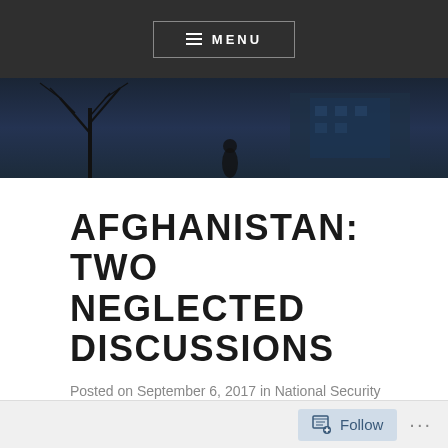MENU
[Figure (photo): Dark blue-toned hero image showing a silhouetted figure, bare tree branches, and a building in the background at night or dusk.]
AFGHANISTAN: TWO NEGLECTED DISCUSSIONS
Posted on September 6, 2017 in National Security
[Figure (photo): Partial article image strip showing a person and a blue banner at the bottom of the visible area.]
Follow ...